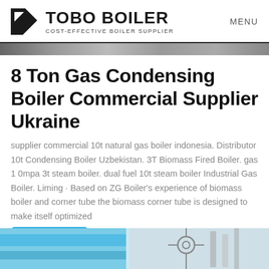TOBO BOILER COST-EFFECTIVE BOILER SUPPLIER | MENU
[Figure (photo): Partial hero image bar at top of content area]
8 Ton Gas Condensing Boiler Commercial Supplier Ukraine
supplier commercial 10t natural gas boiler indonesia. Distributor 10t Condensing Boiler Uzbekistan. 3T Biomass Fired Boiler. gas 1 0mpa 3t steam boiler. dual fuel 10t steam boiler Industrial Gas Boiler. Liming · Based on ZG Boiler's experience of biomass boiler and corner tube the biomass corner tube is designed to make itself optimized to a variety of biomass fuels. Get A Quote
[Figure (photo): Bottom image showing blue industrial boiler pipes and equipment]